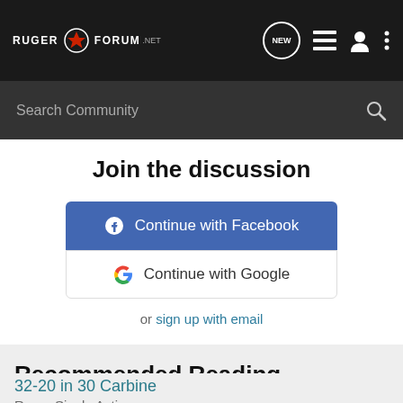[Figure (logo): Ruger Forum .net logo with red emblem in dark navigation bar]
Search Community
Join the discussion
Continue with Facebook
Continue with Google
or sign up with email
Recommended Reading
32-20 in 30 Carbine
Ruger Single Action